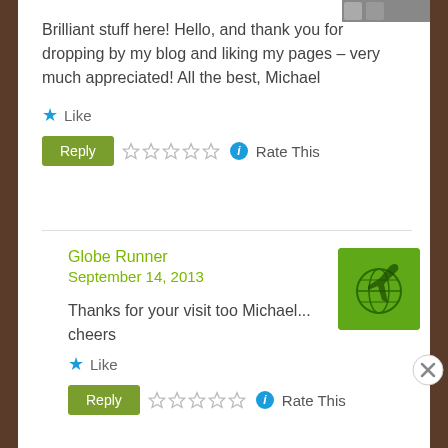[Figure (photo): Partial avatar image in top right corner]
Brilliant stuff here! Hello, and thank you for dropping by my blog and liking my pages – very much appreciated! All the best, Michael
★ Like
Reply  ☆☆☆☆☆ ⓘ Rate This
Globe Runner
September 14, 2013
[Figure (logo): Globe Runner avatar: green square with globe and plane icon]
Thanks for your visit too Michael...
cheers
★ Like
Reply  ☆☆☆☆☆ ⓘ Rate This
Advertisements
[Figure (logo): WordPress VIP logo]
[Figure (infographic): Advertisement banner with gradient background and Learn more button]